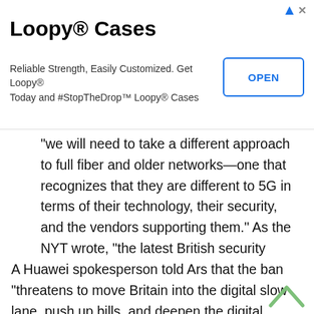[Figure (other): Advertisement banner for Loopy® Cases with title, subtitle text, and OPEN button]
"we will need to take a different approach to full fiber and older networks—one that recognizes that they are different to 5G in terms of their technology, their security, and the vendors supporting them." As the NYT wrote, "the latest British security assessment has concluded that there was no need to eliminate Huawei's role in earlier 2G, 3G and 4G networks, and the government is not seeking to discourage consumers from using Huawei products."
A Huawei spokesperson told Ars that the ban "threatens to move Britain into the digital slow lane, push up bills, and deepen the digital divide." The decision "is about US trade policy and not